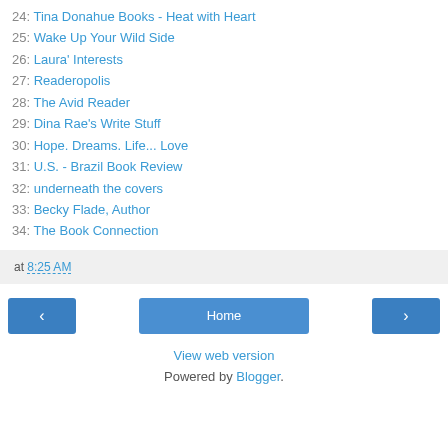24: Tina Donahue Books - Heat with Heart
25: Wake Up Your Wild Side
26: Laura' Interests
27: Readeropolis
28: The Avid Reader
29: Dina Rae's Write Stuff
30: Hope. Dreams. Life... Love
31: U.S. - Brazil Book Review
32: underneath the covers
33: Becky Flade, Author
34: The Book Connection
at 8:25 AM
View web version
Powered by Blogger.